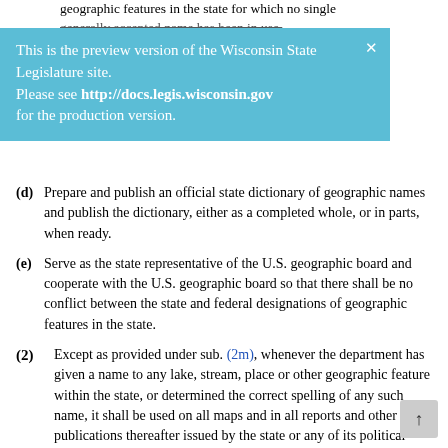geographic features in the state for which no single generally accepted name has been in use.
[Figure (screenshot): Preview banner: 'This is the preview version of the Wisconsin State Legislature site. Please see http://docs.legis.wisconsin.gov for the production version.']
(d) Prepare and publish an official state dictionary of geographic names and publish the dictionary, either as a completed whole, or in parts, when ready.
(e) Serve as the state representative of the U.S. geographic board and cooperate with the U.S. geographic board so that there shall be no conflict between the state and federal designations of geographic features in the state.
(2) Except as provided under sub. (2m), whenever the department has given a name to any lake, stream, place or other geographic feature within the state, or determined the correct spelling of any such name, it shall be used on all maps and in all reports and other publications thereafter issued by the state or any of its political subdivisions, and it shall be the official name of the geographic feature.
(2m) Notwithstanding subs. (1) and (2), the portion of the Galena River located within the state is renamed the Fever River. That name shall be used on all maps and in all reports and other publications issued by the state or any of its political subdivisions on and after May 14, 1992, and it shall be the official name of the geographic feature.